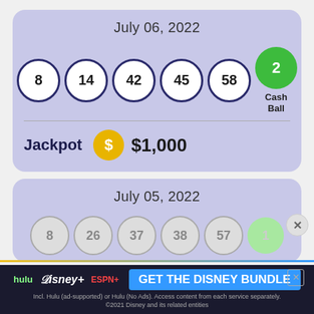July 06, 2022
[Figure (infographic): Lottery balls: 8, 14, 42, 45, 58 (white with dark border), Cash Ball: 2 (green)]
Cash Ball
Jackpot $1,000
July 05, 2022
[Figure (infographic): Lottery balls partially visible: 8, 26, 37, 38, 57 (gray), Cash Ball: 1 (light green)]
[Figure (infographic): Advertisement: GET THE DISNEY BUNDLE - hulu, Disney+, ESPN+]